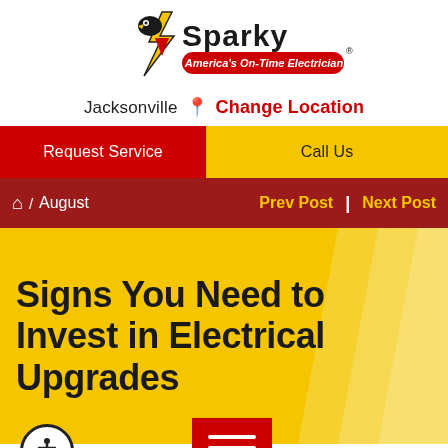[Figure (logo): Mister Sparky logo with lightning bolt mascot and tagline 'America's On-Time Electrician']
Jacksonville  Change Location
Request Service | Call Us
Home / August   Prev Post | Next Post
Signs You Need to Invest in Electrical Upgrades